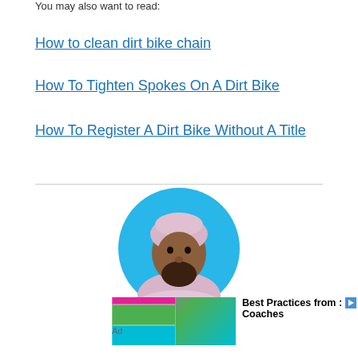You may also want to read:
How to clean dirt bike chain
How To Tighten Spokes On A Dirt Bike
How To Register A Dirt Bike Without A Title
[Figure (photo): Circular portrait photo of a man wearing a pink/lavender head covering and beard, on a sky-blue circular background]
[Figure (infographic): Advertisement image showing a workout plan for muscle gain, with colorful grid panels (pink, green, cyan, yellow). Overlaid text reads 'WORKOUT PLAN FOR MUSCLE GAIN'. Adjacent ad text reads 'Best Practices from : Coaches' with play and close icons.]
Ad